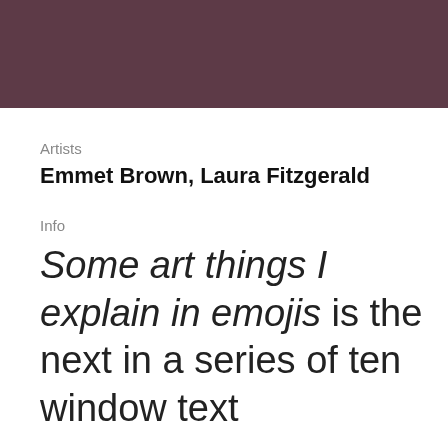[Figure (other): Dark mauve/burgundy colored header bar spanning full width at top of page]
Artists
Emmet Brown, Laura Fitzgerald
Info
Some art things I explain in emojis is the next in a series of ten window text